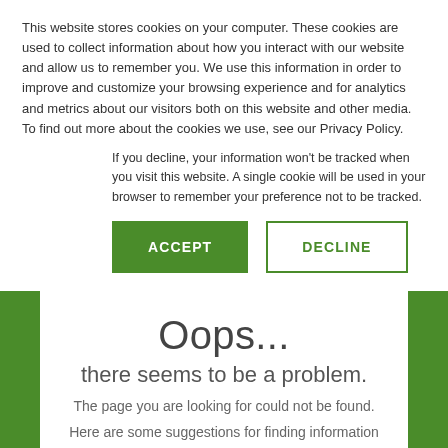This website stores cookies on your computer. These cookies are used to collect information about how you interact with our website and allow us to remember you. We use this information in order to improve and customize your browsing experience and for analytics and metrics about our visitors both on this website and other media. To find out more about the cookies we use, see our Privacy Policy.
If you decline, your information won't be tracked when you visit this website. A single cookie will be used in your browser to remember your preference not to be tracked.
ACCEPT
DECLINE
Oops...
there seems to be a problem.
The page you are looking for could not be found.
Here are some suggestions for finding information